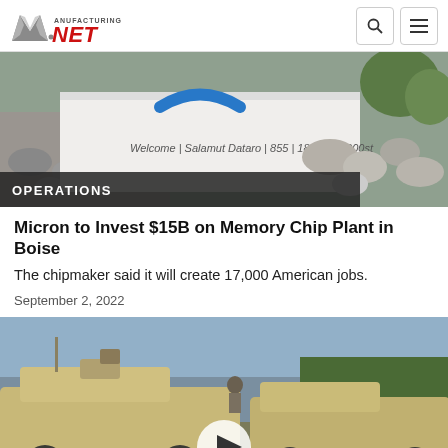Manufacturing.net
[Figure (photo): Micron Technology facility sign with rocks and landscaping in the background]
OPERATIONS
Micron to Invest $15B on Memory Chip Plant in Boise
The chipmaker said it will create 17,000 American jobs.
September 2, 2022
[Figure (photo): Military JLTV / armored vehicle with play button overlay indicating a video]